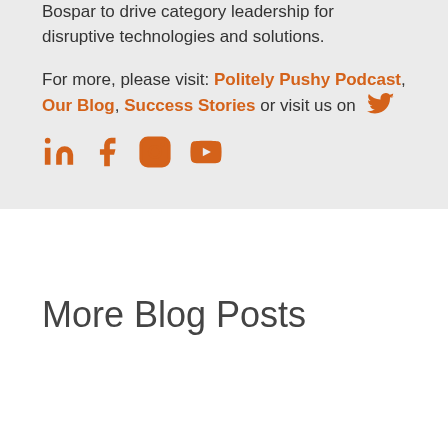Bospar to drive category leadership for disruptive technologies and solutions.
For more, please visit: Politely Pushy Podcast, Our Blog, Success Stories or visit us on [Twitter] [LinkedIn] [Facebook] [Instagram] [YouTube]
More Blog Posts